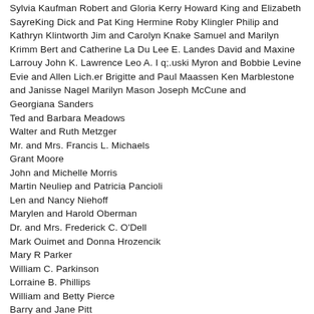Sylvia Kaufman Robert and Gloria Kerry Howard King and Elizabeth SayreKing Dick and Pat King Hermine Roby Klingler Philip and Kathryn Klintworth Jim and Carolyn Knake Samuel and Marilyn Krimm Bert and Catherine La Du Lee E. Landes David and Maxine Larrouy John K. Lawrence Leo A. I q;.uski Myron and Bobbie Levine Evie and Allen Lich.er Brigitte and Paul Maassen Ken Marblestone and Janisse Nagel Marilyn Mason Joseph McCune and
Georgiana Sanders
Ted and Barbara Meadows
Walter and Ruth Metzger
Mr. and Mrs. Francis L. Michaels
Grant Moore
John and Michelle Morris
Martin Neuliep and Patricia Pancioli
Len and Nancy Niehoff
Marylen and Harold Oberman
Dr. and Mrs. Frederick C. O'Dell
Mark Ouimet and Donna Hrozencik
Mary R Parker
William C. Parkinson
Lorraine B. Phillips
William and Betty Pierce
Barry and Jane Pitt